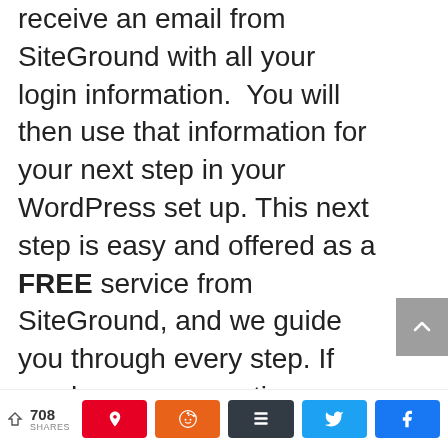receive an email from SiteGround with all your login information.  You will then use that information for your next step in your WordPress set up. This next step is easy and offered as a FREE service from SiteGround, and we guide you through every step. If you have any questions on any of these processes, we are happy to help
< 708 SHARES | Pin | Reddit | Buffer | Twitter | Facebook